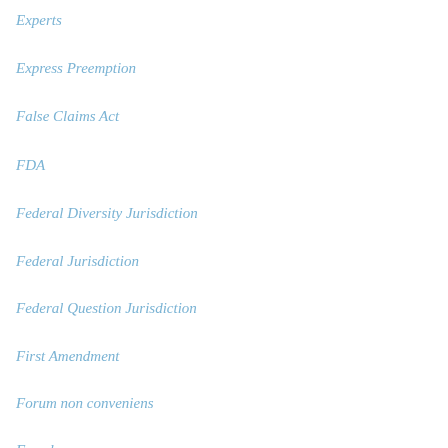Experts
Express Preemption
False Claims Act
FDA
Federal Diversity Jurisdiction
Federal Jurisdiction
Federal Question Jurisdiction
First Amendment
Forum non conveniens
Fraud
Fraudulent Joinder
Freedom of Information Act